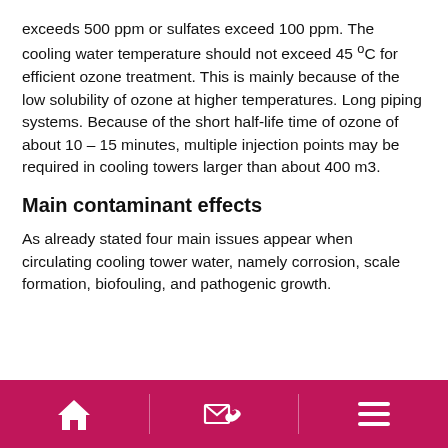exceeds 500 ppm or sulfates exceed 100 ppm. The cooling water temperature should not exceed 45 ºC for efficient ozone treatment. This is mainly because of the low solubility of ozone at higher temperatures. Long piping systems. Because of the short half-life time of ozone of about 10 – 15 minutes, multiple injection points may be required in cooling towers larger than about 400 m3.
Main contaminant effects
As already stated four main issues appear when circulating cooling tower water, namely corrosion, scale formation, biofouling, and pathogenic growth.
[home icon] [contact icon] [menu icon]